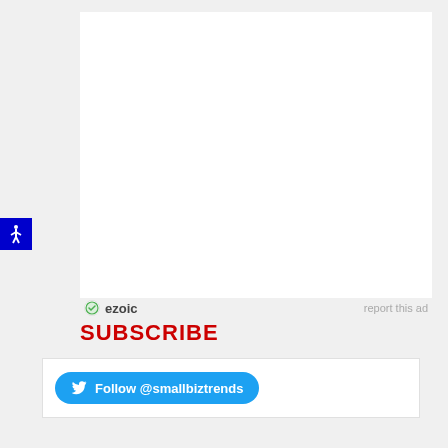[Figure (logo): Accessibility button with white stick figure icon on dark blue background]
[Figure (other): White rectangular advertisement placeholder area (ezoic ad unit)]
ezoic   report this ad
SUBSCRIBE
[Figure (other): Twitter Follow @smallbiztrends button in light blue rounded rectangle]